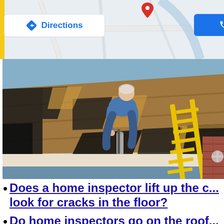[Figure (screenshot): Google Maps interface showing a map with a red location pin, a 'Directions' button with blue diamond arrow icon, and a partially visible blue 'Call' button. A yellow vertical stripe is visible on the left edge.]
[Figure (photo): A roofing worker in blue clothing kneeling on a partially stripped roof, working near a pipe/vent. A yellow ladder leans against the side of the house. The roof has exposed wood decking with some old shingles remaining.]
Does a home inspector lift up the c... look for cracks in the floor?
Do home inspectors go on the roof... or in the attic?